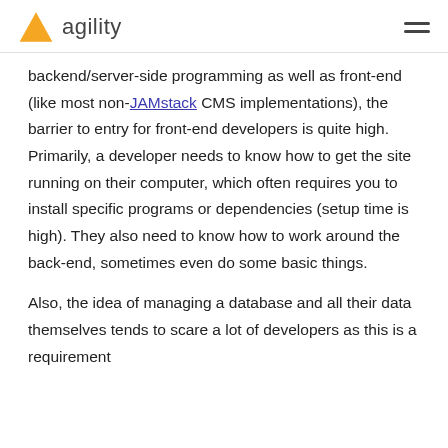agility
backend/server-side programming as well as front-end (like most non-JAMstack CMS implementations), the barrier to entry for front-end developers is quite high. Primarily, a developer needs to know how to get the site running on their computer, which often requires you to install specific programs or dependencies (setup time is high). They also need to know how to work around the back-end, sometimes even do some basic things.
Also, the idea of managing a database and all their data themselves tends to scare a lot of developers as this is a requirement